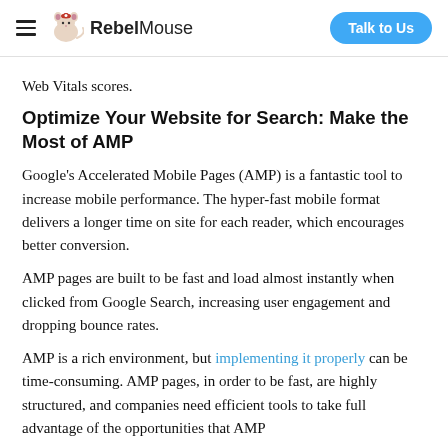RebelMouse | Talk to Us
Web Vitals scores.
Optimize Your Website for Search: Make the Most of AMP
Google's Accelerated Mobile Pages (AMP) is a fantastic tool to increase mobile performance. The hyper-fast mobile format delivers a longer time on site for each reader, which encourages better conversion.
AMP pages are built to be fast and load almost instantly when clicked from Google Search, increasing user engagement and dropping bounce rates.
AMP is a rich environment, but implementing it properly can be time-consuming. AMP pages, in order to be fast, are highly structured, and companies need efficient tools to take full advantage of the opportunities that AMP